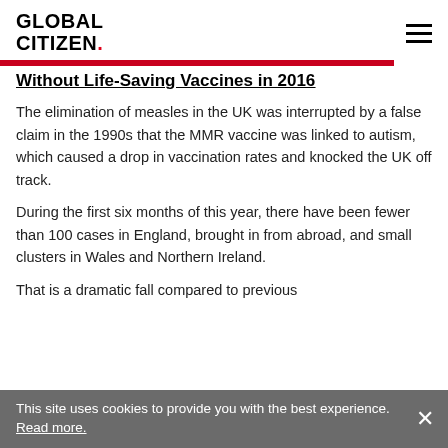GLOBAL CITIZEN.
Without Life-Saving Vaccines in 2016
The elimination of measles in the UK was interrupted by a false claim in the 1990s that the MMR vaccine was linked to autism, which caused a drop in vaccination rates and knocked the UK off track.
During the first six months of this year, there have been fewer than 100 cases in England, brought in from abroad, and small clusters in Wales and Northern Ireland.
That is a dramatic fall compared to previous
This site uses cookies to provide you with the best experience. Read more.